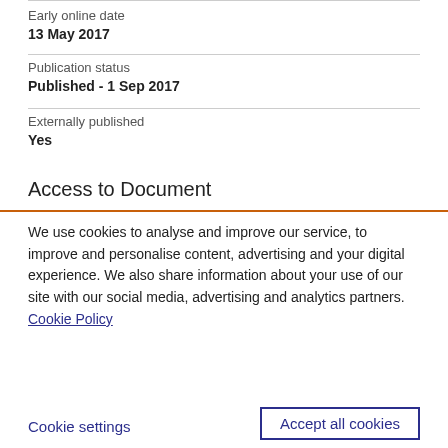Early online date
13 May 2017
Publication status
Published - 1 Sep 2017
Externally published
Yes
Access to Document
We use cookies to analyse and improve our service, to improve and personalise content, advertising and your digital experience. We also share information about your use of our site with our social media, advertising and analytics partners.  Cookie Policy
Cookie settings
Accept all cookies